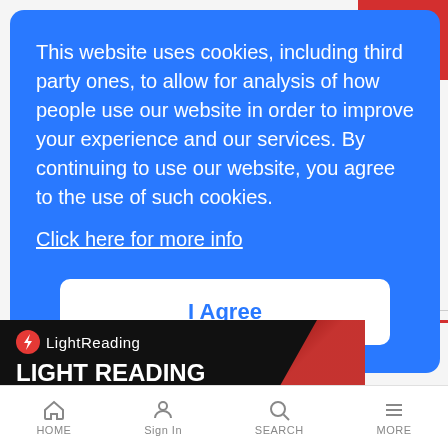This website uses cookies, including third party ones, to allow for analysis of how people use our website in order to improve your experience and our services. By continuing to use our website, you agree to the use of such cookies.
Click here for more info
I Agree
[Figure (screenshot): LightReading advertisement banner with logo, bold white text reading 'LIGHT READING HELPS YOU STAY IN THE TELECOMS' on dark background with red abstract shape]
HOME   Sign In   SEARCH   MORE